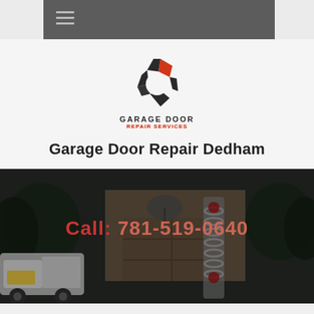Navigation bar with hamburger menu
[Figure (logo): Garage Door Repair Services logo - geometric hexagon shape in dark gray and red/orange with text GARAGE DOOR REPAIR SERVICES below]
Garage Door Repair Dedham
[Figure (photo): Hero banner showing a service van parked in front of a modern garage door with a garage spring coil visible, dark overlay]
Call: 781-519-0640